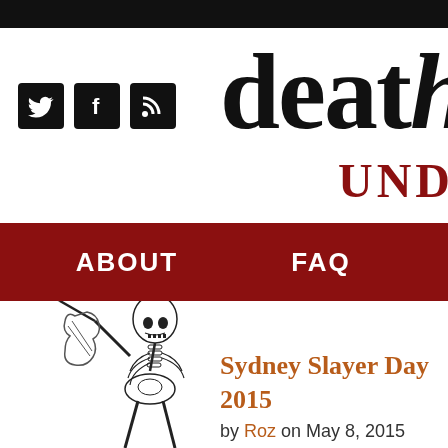death [partial - cropped] UNDE[r - cropped]
[Figure (logo): Social media icons: Twitter bird, Facebook f, RSS feed, all in black rounded squares]
ABOUT   FAQ
[Figure (illustration): Black and white illustration of a skeleton figure playing or holding a violin/instrument, drawn in a vintage woodcut style]
Sydney Slayer Day 2015
by Roz on May 8, 2015